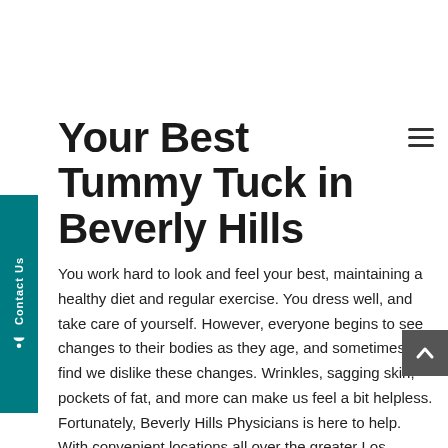Your Best Tummy Tuck in Beverly Hills
You work hard to look and feel your best, maintaining a healthy diet and regular exercise. You dress well, and take care of yourself. However, everyone begins to see changes to their bodies as they age, and sometimes, we find we dislike these changes. Wrinkles, sagging skin, pockets of fat, and more can make us feel a bit helpless. Fortunately, Beverly Hills Physicians is here to help. With convenient locations all over the greater Los Angeles area, we have many of the best plastic surgeons and others available to help you feel as great about your appearance as you do about yourself. Our specialists